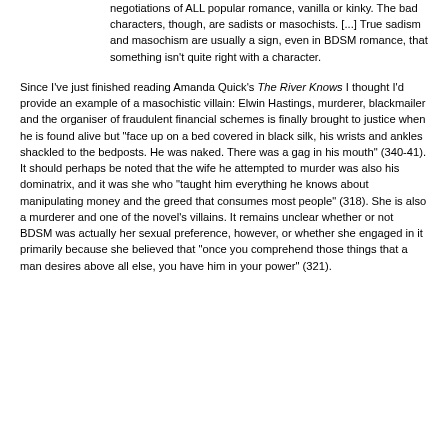negotiations of ALL popular romance, vanilla or kinky. The bad characters, though, are sadists or masochists. [...] True sadism and masochism are usually a sign, even in BDSM romance, that something isn't quite right with a character.
Since I've just finished reading Amanda Quick's The River Knows I thought I'd provide an example of a masochistic villain: Elwin Hastings, murderer, blackmailer and the organiser of fraudulent financial schemes is finally brought to justice when he is found alive but "face up on a bed covered in black silk, his wrists and ankles shackled to the bedposts. He was naked. There was a gag in his mouth" (340-41). It should perhaps be noted that the wife he attempted to murder was also his dominatrix, and it was she who "taught him everything he knows about manipulating money and the greed that consumes most people" (318). She is also a murderer and one of the novel's villains. It remains unclear whether or not BDSM was actually her sexual preference, however, or whether she engaged in it primarily because she believed that "once you comprehend those things that a man desires above all else, you have him in your power" (321).